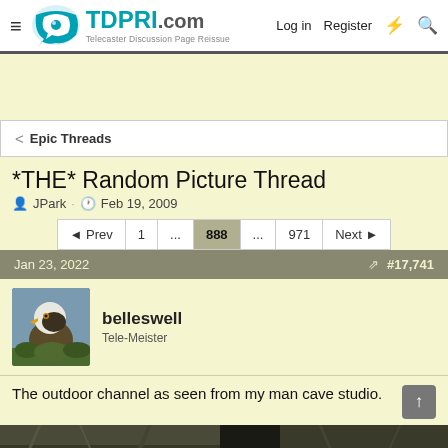TDPRI.com — Telecaster Discussion Page Reissue | Log in | Register
< Epic Threads
*THE* Random Picture Thread
JPark · Feb 19, 2009
Prev 1 ... 888 ... 971 Next
Jan 23, 2022 #17,741
belleswell
Tele-Meister
The outdoor channel as seen from my man cave studio.
[Figure (photo): Partial view of an image strip at the bottom of the page showing an outdoor scene]